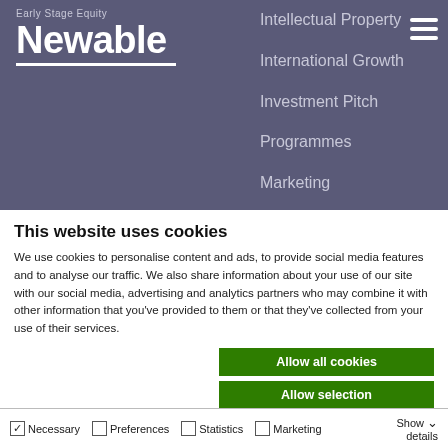[Figure (logo): Newable Early Stage Equity logo — white text on dark purple-grey background, with navigation menu items: Intellectual Property, International Growth, Investment Pitch, Programmes, Marketing]
This website uses cookies
We use cookies to personalise content and ads, to provide social media features and to analyse our traffic. We also share information about your use of our site with our social media, advertising and analytics partners who may combine it with other information that you've provided to them or that they've collected from your use of their services.
Allow all cookies
Allow selection
Use necessary cookies only
Necessary  Preferences  Statistics  Marketing  Show details